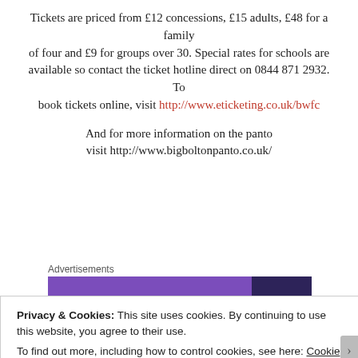Tickets are priced from £12 concessions, £15 adults, £48 for a family of four and £9 for groups over 30. Special rates for schools are available so contact the ticket hotline direct on 0844 871 2932. To book tickets online, visit http://www.eticketing.co.uk/bwfc
And for more information on the panto visit http://www.bigboltonpanto.co.uk/
[Figure (other): Advertisements banner: two-tone purple horizontal bar (lighter purple and dark purple sections)]
Privacy & Cookies: This site uses cookies. By continuing to use this website, you agree to their use.
To find out more, including how to control cookies, see here: Cookie Policy